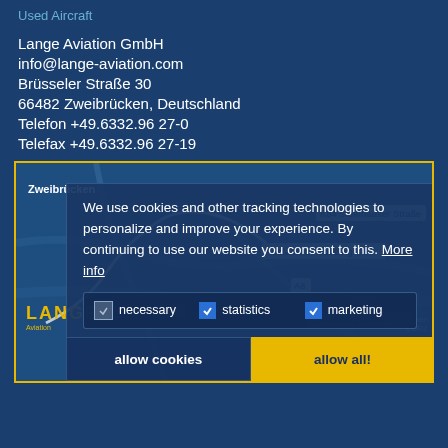Used Aircraft
Lange Aviation GmbH
info@lange-aviation.com
Brüsseler Straße 30
66482 Zweibrücken, Deutschland
Telefon +49.6332.96 27-0
Telefax +49.6332.96 27-19
[Figure (map): Map showing Zweibrücken area with road labels including K84 Steinhauser Straße, Ausfahrt 34 Contwig, A8, L700 Europa Allee, with cookie consent overlay dialog]
We use cookies and other tracking technologies to personalize and improve your experience. By continuing to use our website you consent to this. More info
necessary  statistics  marketing
allow cookies
allow all!